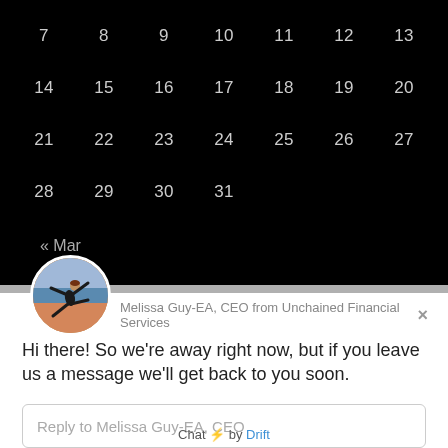[Figure (screenshot): Calendar widget on black background showing dates 7-13, 14-20, 21-27, 28-31, with « Mar navigation link]
Melissa Guy-EA, CEO from Unchained Financial Services
Hi there! So we're away right now, but if you leave us a message we'll get back to you soon.
Reply to Melissa Guy-EA, CEO
Chat ⚡ by Drift